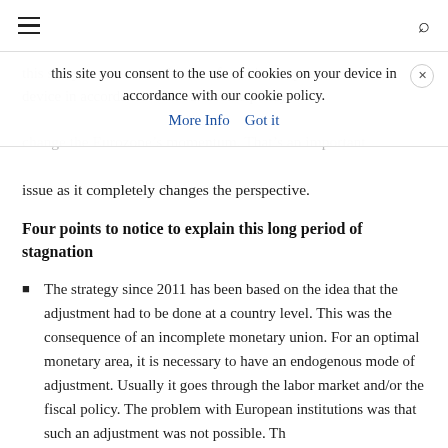≡  [search icon]
this site you consent to the use of cookies on your device in accordance with our cookie policy. More Info   Got it
change the Eurozone's momentum. That's an important issue as it completely changes the perspective.
Four points to notice to explain this long period of stagnation
The strategy since 2011 has been based on the idea that the adjustment had to be done at a country level. This was the consequence of an incomplete monetary union. For an optimal monetary area, it is necessary to have an endogenous mode of adjustment. Usually it goes through the labor market and/or the fiscal policy. The problem with European institutions was that such an adjustment was not possible. The